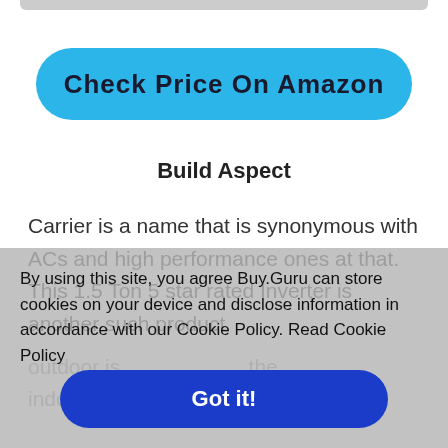[Figure (other): Partial gray bar at top, cropped from scroll]
Check Price On Amazon
Build Aspect
Carrier is a name that is synonymous with ACs and high performance ones at that. This 1.5 Ton 5 star rated Inverter is another such product
By using this site, you agree Buy.Guru can store cookies on your device and disclose information in accordance with our Cookie Policy. Read Cookie Policy
outdoor is ... ... ... the indoor unit ... ... or unit
Got it!